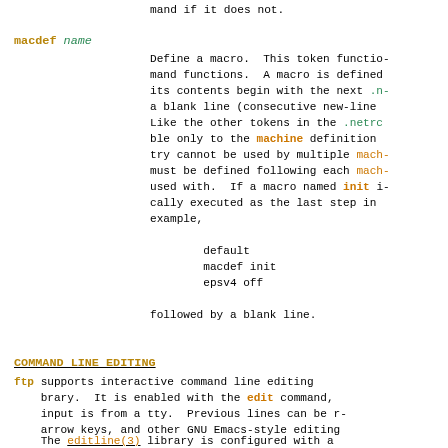mand if it does not.
macdef name
    Define a macro.  This token functio-
    mand functions.  A macro is defined
    its contents begin with the next .n-
    a blank line (consecutive new-line
    Like the other tokens in the .netrc
    ble only to the machine definition
    try cannot be used by multiple mach-
    must be defined following each mach-
    used with.  If a macro named init i-
    cally executed as the last step in
    example,

        default
        macdef init
        epsv4 off

    followed by a blank line.
COMMAND LINE EDITING
ftp supports interactive command line editing
    brary.  It is enabled with the edit command,
    input is from a tty.  Previous lines can be r-
    arrow keys, and other GNU Emacs-style editing
The editline(3) library is configured with a